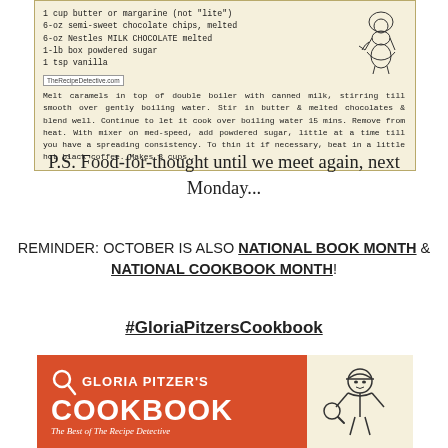[Figure (photo): Scanned recipe card with ingredients and instructions on aged paper background, with TheRecipeDetective.com watermark and a cartoon chef illustration in top right]
P.S. Food-for-thought until we meet again, next Monday...
REMINDER: OCTOBER IS ALSO NATIONAL BOOK MONTH & NATIONAL COOKBOOK MONTH!
#GloriaPitzersCookbook
[Figure (logo): Gloria Pitzer's Cookbook - The Best of The Recipe Detective banner in red/orange with white text and a cartoon detective illustration on cream background]